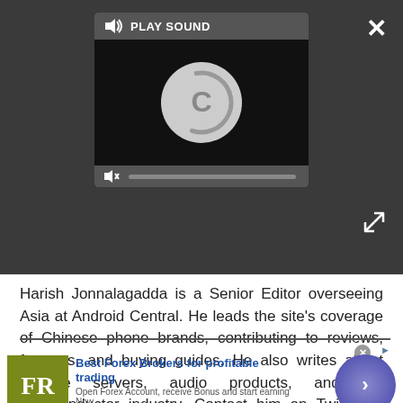[Figure (screenshot): Media player UI with dark background showing PLAY SOUND button, circular loading spinner, mute button, and progress bar. Close (X) button top-right, expand button bottom-right.]
Harish Jonnalagadda is a Senior Editor overseeing Asia at Android Central. He leads the site's coverage of Chinese phone brands, contributing to reviews, features, and buying guides. He also writes about storage servers, audio products, and the semiconductor industry. Contact him on Twitter at @chunkynerd.
[Figure (screenshot): Advertisement banner for forex-ratings.com: 'Best Forex Brokers for profitable trading'. Shows FR logo in olive/yellow-green square, ad text, and a purple circular CTA button with arrow.]